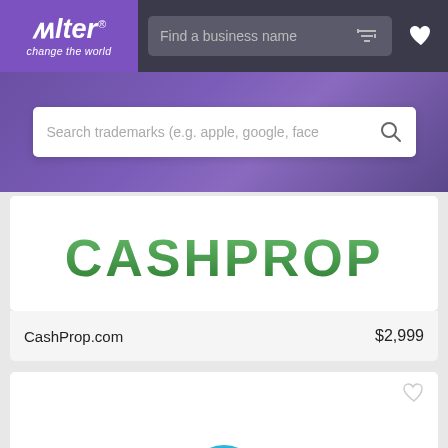[Figure (screenshot): Alter marketplace website navigation bar with purple logo, search field 'Find a business name', filter icon, and heart icon on dark background]
[Figure (screenshot): Purple hero search bar with placeholder text 'Search trademarks (e.g. apple, google, face' and search icon]
[Figure (logo): CASHPROP logo in bold green/dark green capital letters on white card background]
CashProp.com	$2,999
[Figure (logo): GoalSurf logo: cyan wave/surf icon above cyan text 'GoalSurf' on white card background]